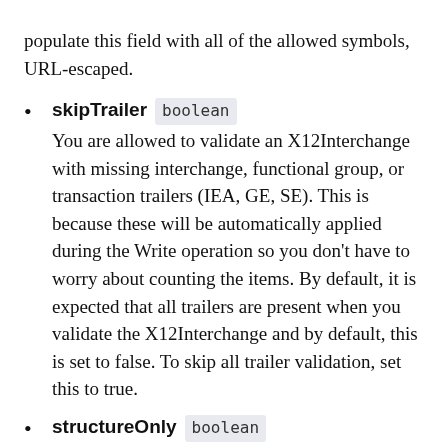populate this field with all of the allowed symbols, URL-escaped.
skipTrailer boolean
You are allowed to validate an X12Interchange with missing interchange, functional group, or transaction trailers (IEA, GE, SE). This is because these will be automatically applied during the Write operation so you don't have to worry about counting the items. By default, it is expected that all trailers are present when you validate the X12Interchange and by default, this is set to false. To skip all trailer validation, set this to true.
structureOnly boolean
This is equivalent to HIPAA Snip level 1, where only the structure and control segments are validated. By default, this is set to false,